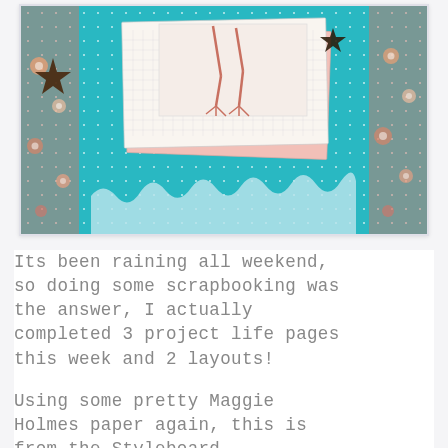[Figure (photo): A scrapbooking layout on a teal polka-dot background with floral border strips, layered paper cards in the center, flamingo leg sketches, and black star embellishments.]
Its been raining all weekend, so doing some scrapbooking was the answer, I actually completed 3 project life pages this week and 2 layouts!
Using some pretty Maggie Holmes paper again, this is from the Styleboard